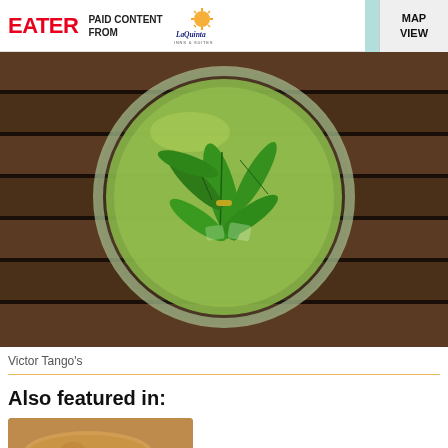EATER  PAID CONTENT FROM  La Quinta Inns & Suites  MAP VIEW
[Figure (photo): Top-down view of a green cocktail in a round glass with sage or herb leaves and a small gold clip, resting on wooden slat surface]
Victor Tango's
Also featured in:
[Figure (photo): Partial thumbnail image of a food item on a wooden surface, bottom of page]